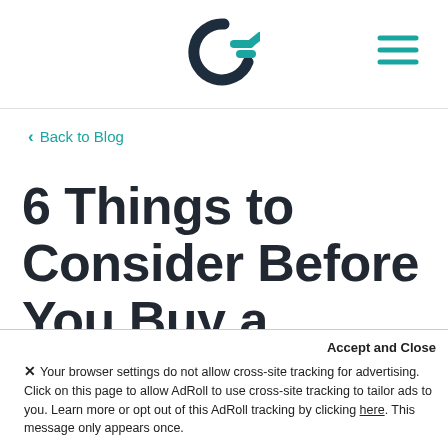Cardinal Financial logo and navigation
< Back to Blog
6 Things to Consider Before You Buy a Mountain Home
Cardinal Financial
Accept and Close
✕ Your browser settings do not allow cross-site tracking for advertising. Click on this page to allow AdRoll to use cross-site tracking to tailor ads to you. Learn more or opt out of this AdRoll tracking by clicking here. This message only appears once.